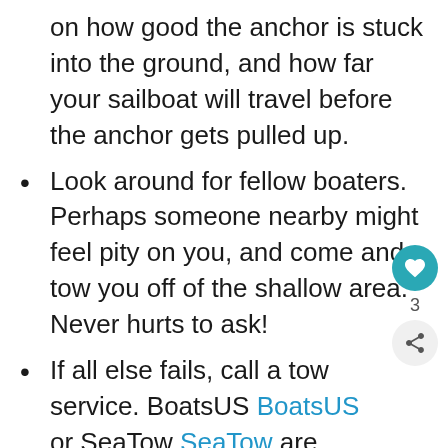on how good the anchor is stuck into the ground, and how far your sailboat will travel before the anchor gets pulled up.
Look around for fellow boaters. Perhaps someone nearby might feel pity on you, and come and tow you off of the shallow area. Never hurts to ask!
If all else fails, call a tow service. BoatsUS BoatsUS or SeaTow SeaTow are both companies that operate like AAA does on land. You can purchase a membership for the year, and if you get stuck, just give them a call and they will come and